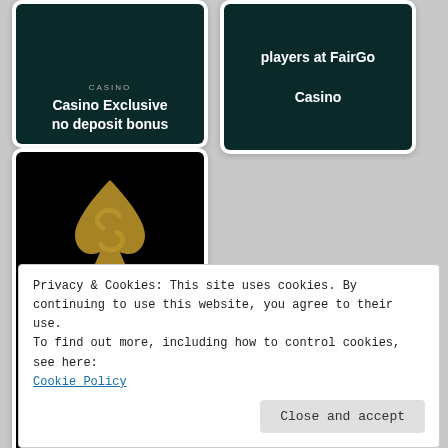[Figure (screenshot): Casino Exclusive no deposit bonus card — dark teal background with white text]
[Figure (screenshot): Players at FairGo Casino card — dark teal background with white text and FairGo logo]
[Figure (screenshot): Superseven Casino free spins card — black background with gold spade/S logo and italic watermark text]
[Figure (screenshot): Social sharing buttons: Facebook (blue), Twitter (light blue), Email (dark), LinkedIn (red), Pinterest (red)]
Privacy & Cookies: This site uses cookies. By continuing to use this website, you agree to their use.
To find out more, including how to control cookies, see here:
Cookie Policy
Close and accept